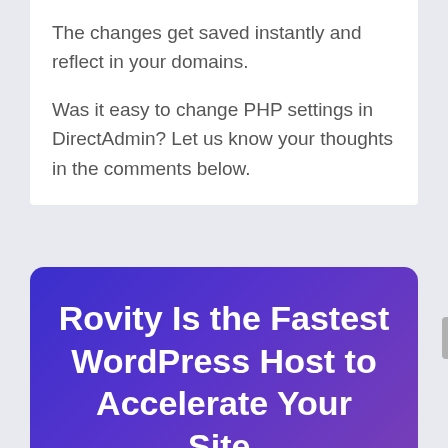The changes get saved instantly and reflect in your domains.
Was it easy to change PHP settings in DirectAdmin? Let us know your thoughts in the comments below.
Rovity Is the Fastest WordPress Host to Accelerate Your Site.